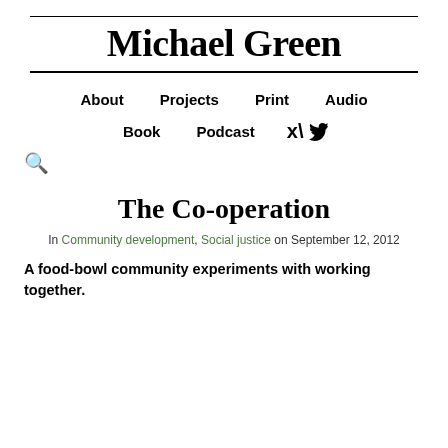Michael Green
About   Projects   Print   Audio   Book   Podcast   [Twitter]   [Search]
The Co-operation
In Community development, Social justice on September 12, 2012
A food-bowl community experiments with working together.